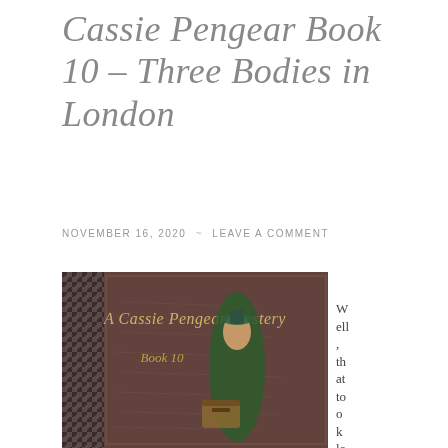Cassie Pengear Book 10 – Three Bodies in London
NOVEMBER 16, 2020 ~ LEAVE A COMMENT
[Figure (illustration): Book cover for 'A Cassie Pengear Mystery Book 10' showing a Victorian-dressed woman in a green jacket and hat, standing next to a trunk, against a parchment-style background with houndstooth pattern on the left side.]
Well, that to ok lo ng en